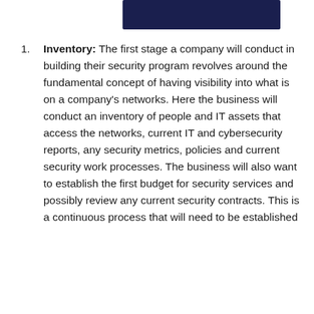[Figure (other): Dark navy blue rectangular banner at the top of the page]
Inventory: The first stage a company will conduct in building their security program revolves around the fundamental concept of having visibility into what is on a company's networks. Here the business will conduct an inventory of people and IT assets that access the networks, current IT and cybersecurity reports, any security metrics, policies and current security work processes. The business will also want to establish the first budget for security services and possibly review any current security contracts. This is a continuous process that will need to be established